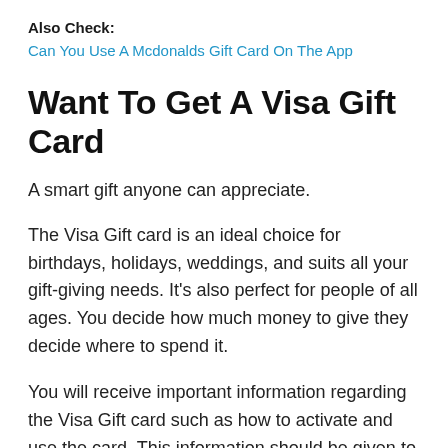Also Check:
Can You Use A Mcdonalds Gift Card On The App
Want To Get A Visa Gift Card
A smart gift anyone can appreciate.
The Visa Gift card is an ideal choice for birthdays, holidays, weddings, and suits all your gift-giving needs. It’s also perfect for people of all ages. You decide how much money to give they decide where to spend it.
You will receive important information regarding the Visa Gift card such as how to activate and use the card. This information should be given to the recipient of the card.
How Does A Prepaid Card Work